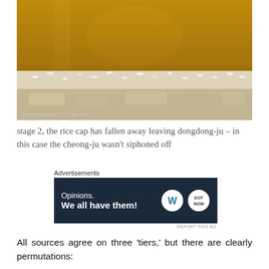[Figure (photo): Close-up photograph of a fermentation jar showing rice cap that has fallen away, leaving dongdong-ju. The upper portion shows golden-amber liquid and the lower shows white rice sediment/cap. Watermark text: Mister Makgeolli 누구인지 4월 2012]
stage 2, the rice cap has fallen away leaving dongdong-ju – in this case the cheong-ju wasn't siphoned off
Advertisements
[Figure (screenshot): WordPress advertisement banner with dark navy background. Text reads: Opinions. We all have them! WordPress and DOT NOW logos on the right. REPORT THIS AD link at bottom right.]
All sources agree on three 'tiers,' but there are clearly permutations: